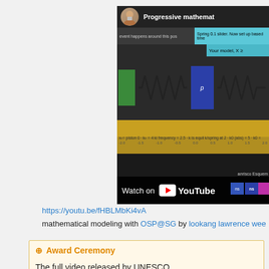[Figure (screenshot): YouTube video thumbnail showing a physics spring-mass simulation titled 'Progressive mathemat...' with a spring-mass oscillator diagram, data strips, and a Watch on YouTube overlay bar.]
https://youtu.be/fHBLMbKi4vA
mathematical modeling with OSP@SG by lookang lawrence wee
Award Ceremony
The full video released by UNESCO